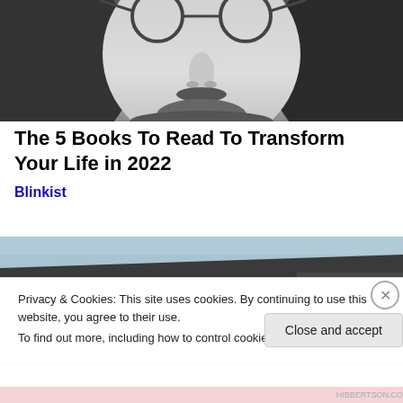[Figure (photo): Black and white close-up photo of a man with round glasses, long hair, and a mustache/beard, cropped to show nose and mouth area.]
The 5 Books To Read To Transform Your Life in 2022
Blinkist
[Figure (photo): Photo showing the exterior of a modern building with a flat roof against a blue sky.]
Privacy & Cookies: This site uses cookies. By continuing to use this website, you agree to their use.
To find out more, including how to control cookies, see here: Cookie Policy
Close and accept